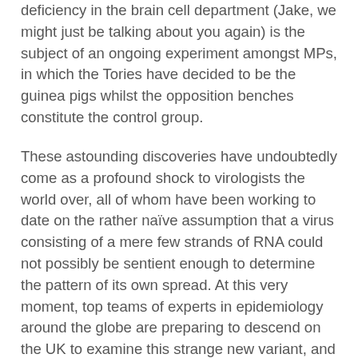deficiency in the brain cell department (Jake, we might just be talking about you again) is the subject of an ongoing experiment amongst MPs, in which the Tories have decided to be the guinea pigs whilst the opposition benches constitute the control group.
These astounding discoveries have undoubtedly come as a profound shock to virologists the world over, all of whom have been working to date on the rather naïve assumption that a virus consisting of a mere few strands of RNA could not possibly be sentient enough to determine the pattern of its own spread. At this very moment, top teams of experts in epidemiology around the globe are preparing to descend on the UK to examine this strange new variant, and study the processes which the UK followed in order to channel viral mutations in the direction of sentience. Brexit, of course, has been absolutely key to the success of the